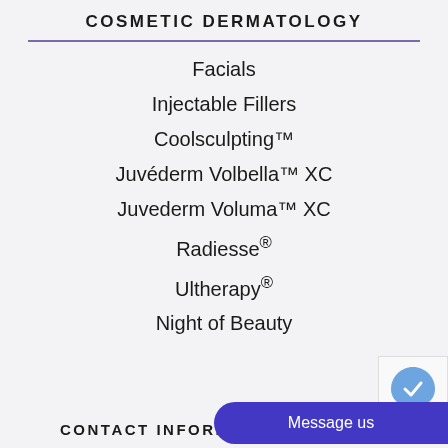COSMETIC DERMATOLOGY
Facials
Injectable Fillers
Coolsculpting™
Juvéderm Volbella™ XC
Juvederm Voluma™ XC
Radiesse®
Ultherapy®
Night of Beauty
CONTACT INFORMATION